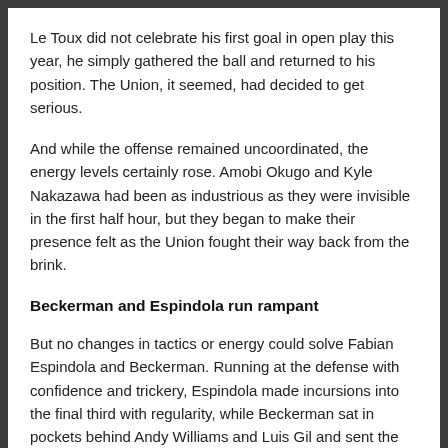Le Toux did not celebrate his first goal in open play this year, he simply gathered the ball and returned to his position. The Union, it seemed, had decided to get serious.
And while the offense remained uncoordinated, the energy levels certainly rose. Amobi Okugo and Kyle Nakazawa had been as industrious as they were invisible in the first half hour, but they began to make their presence felt as the Union fought their way back from the brink.
Beckerman and Espindola run rampant
But no changes in tactics or energy could solve Fabian Espindola and Beckerman. Running at the defense with confidence and trickery, Espindola made incursions into the final third with regularity, while Beckerman sat in pockets behind Andy Williams and Luis Gil and sent the ball wide.
In the 35th minute, Robbie Russell finished Justin Mapp after the play and received a yellow card. It was indicative of Real